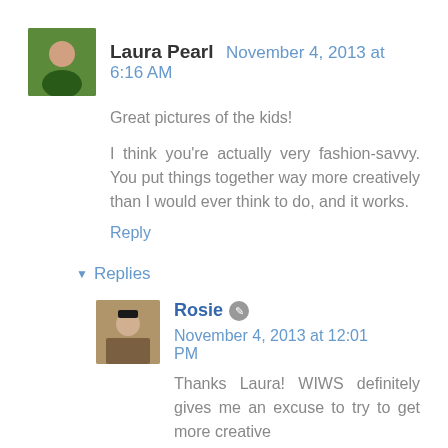Laura Pearl  November 4, 2013 at 6:16 AM
Great pictures of the kids!
I think you're actually very fashion-savvy. You put things together way more creatively than I would ever think to do, and it works.
Reply
▾  Replies
Rosie  November 4, 2013 at 12:01 PM
Thanks Laura! WIWS definitely gives me an excuse to try to get more creative